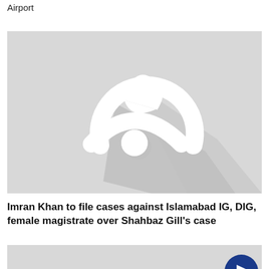Airport
[Figure (photo): Placeholder image with a geo-pin / person icon in white on a gray gradient background — default news thumbnail]
Imran Khan to file cases against Islamabad IG, DIG, female magistrate over Shahbaz Gill’s case
[Figure (photo): Partial placeholder thumbnail with a dark blue circular play button overlay in the bottom-right corner]